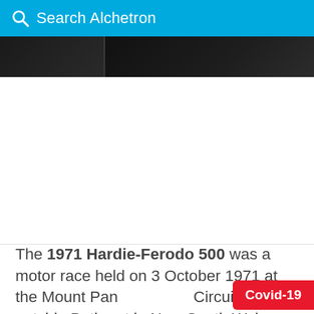Search Alchetron
[Figure (photo): Dark photograph strip showing partial view of a car or racing scene, with a vertical divider line]
The 1971 Hardie-Ferodo 500 was a motor race held on 3 October 1971 at the Mount Panorama Circuit just outside Bathurst in New South Wales